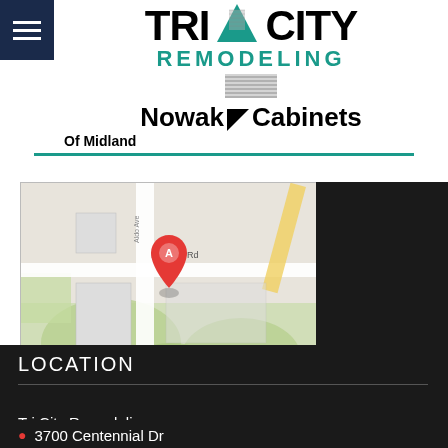[Figure (logo): Tri City Remodeling logo with teal triangle between TRI and CITY, REMODELING in teal below, and Nowak Cabinets Of Midland below with black triangle]
[Figure (map): Google Maps screenshot showing Bay City Rd area with a red pin marker labeled A, Map data 2020]
LOCATION
Tri City Remodeling
3700 Centennial Dr